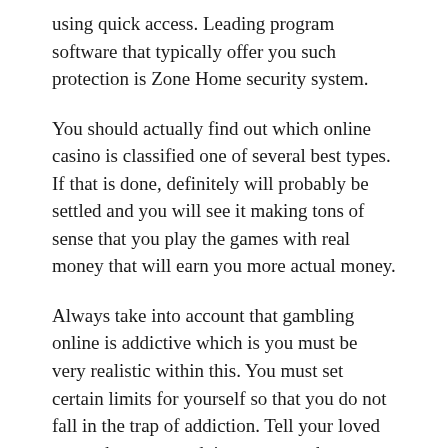using quick access. Leading program software that typically offer you such protection is Zone Home security system.
You should actually find out which online casino is classified one of several best types. If that is done, definitely will probably be settled and you will see it making tons of sense that you play the games with real money that will earn you more actual money.
Always take into account that gambling online is addictive which is you must be very realistic within this. You must set certain limits for yourself so that you do not fall in the trap of addiction. Tell your loved ones what you are doing so as can keep an eye on on you as in reality. The main challenge with online gambling is that going barefoot is considerably more difficult to walk